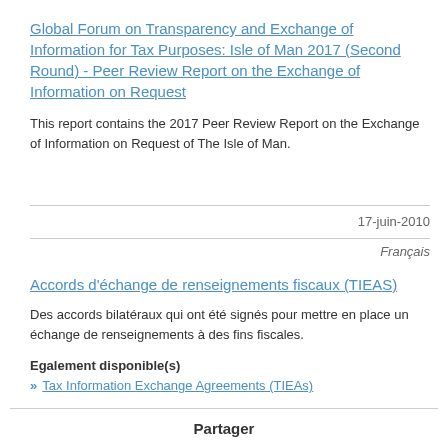Global Forum on Transparency and Exchange of Information for Tax Purposes: Isle of Man 2017 (Second Round) - Peer Review Report on the Exchange of Information on Request
This report contains the 2017 Peer Review Report on the Exchange of Information on Request of The Isle of Man.
17-juin-2010
Français
Accords d'échange de renseignements fiscaux (TIEAS)
Des accords bilatéraux qui ont été signés pour mettre en place un échange de renseignements à des fins fiscales.
Egalement disponible(s)
Tax Information Exchange Agreements (TIEAs)
Partager